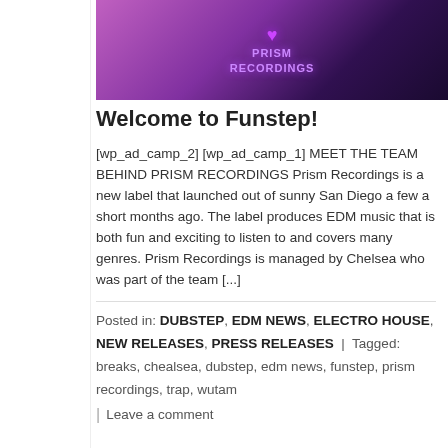[Figure (photo): A studio desk setup with speakers and a Prism Recordings logo mat, lit with purple/pink lighting]
Welcome to Funstep!
[wp_ad_camp_2] [wp_ad_camp_1] MEET THE TEAM BEHIND PRISM RECORDINGS Prism Recordings is a new label that launched out of sunny San Diego a few a short months ago. The label produces EDM music that is both fun and exciting to listen to and covers many genres. Prism Recordings is managed by Chelsea who was part of the team [...]
Posted in: DUBSTEP, EDM NEWS, ELECTRO HOUSE, NEW RELEASES, PRESS RELEASES | Tagged: breaks, chealsea, dubstep, edm news, funstep, prism recordings, trap, wutam
Leave a comment